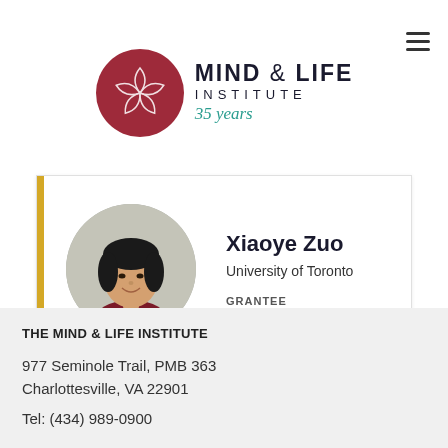[Figure (logo): Mind & Life Institute logo with circular flower emblem and '35 years' text in teal cursive]
[Figure (photo): Circular profile photo of Xiaoye Zuo, a young woman with short black hair, smiling, wearing a dark red top]
Xiaoye Zuo
University of Toronto
GRANTEE
THE MIND & LIFE INSTITUTE
977 Seminole Trail, PMB 363
Charlottesville, VA 22901
Tel: (434) 989-0900